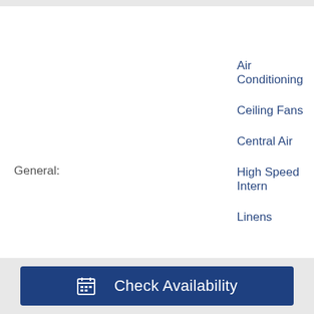General:
Air Conditioning
Ceiling Fans
Central Air
High Speed Intern
Linens
Kitchen:
Fully stocked
Basic baking item
Basic spices
Cookware
Glass and platewa
Check Availability